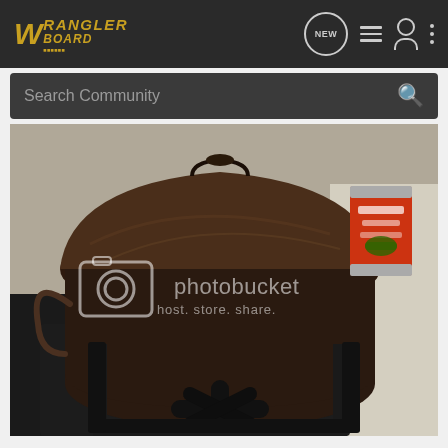Wrangler Board - Navigation bar with logo, NEW message icon, list icon, person icon, more options icon
Search Community
[Figure (photo): A cast iron Dutch oven with a domed lid sitting on a gas stove burner. A can of diced tomatoes is visible in the upper right corner. The image has a Photobucket watermark reading 'photobucket host. store. share.']